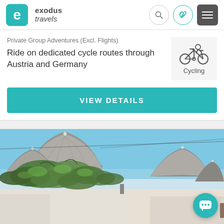[Figure (logo): Exodus Travels logo with teal square containing letter e and company name]
Private Group Adventures (Excl. Flights)
Ride on dedicated cycle routes through Austria and Germany
[Figure (illustration): Cycling activity icon with bicycle and rider]
VIEW DETAILS
[Figure (photo): Photo of trulli stone cone-roofed buildings with green vines in Alberobello, Italy]